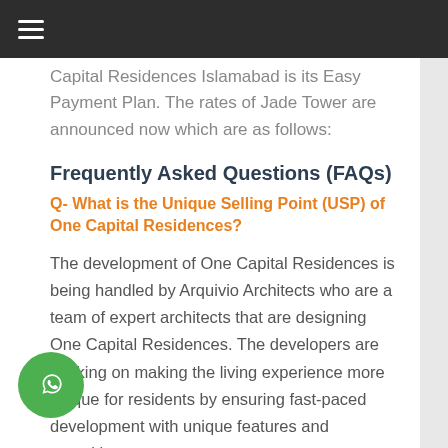Capital Residences Islamabad is its Easy Payment Plan. The rates of Jade Tower are announced now which are as follows:
Frequently Asked Questions (FAQs)
Q- What is the Unique Selling Point (USP) of One Capital Residences?
The development of One Capital Residences is being handled by Arquivio Architects who are a team of expert architects that are designing One Capital Residences. The developers are working on making the living experience more unique for residents by ensuring fast-paced development with unique features and amenities.